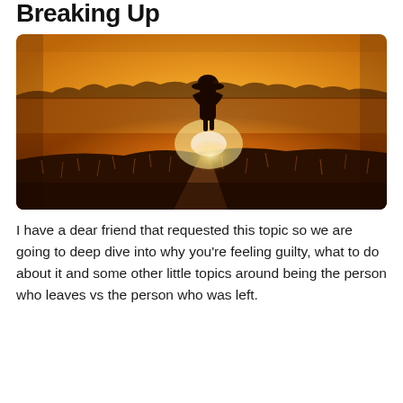Breaking Up
[Figure (photo): Person wearing a wide-brim hat standing in a golden field at sunset, viewed from behind, with warm orange light glowing on the horizon and dry grass in the foreground.]
I have a dear friend that requested this topic so we are going to deep dive into why you’re feeling guilty, what to do about it and some other little topics around being the person who leaves vs the person who was left.